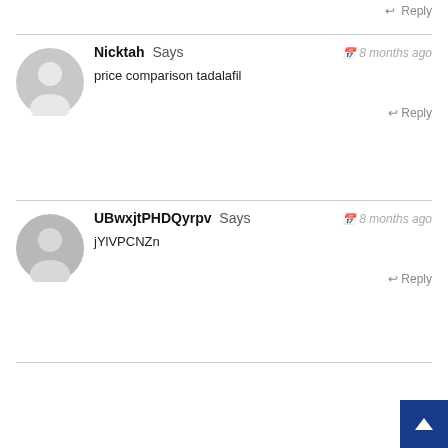Reply
Nicktah Says — 8 months ago
price comparison tadalafil
Reply
UBwxjtPHDQyrpv Says — 8 months ago
jYlVPCNZn
Reply
Sergiotoory Says — 8 months ago
punt casino free spins – punt casino no deposit, online casino south africa
Reply
Annatah Says — 8 months